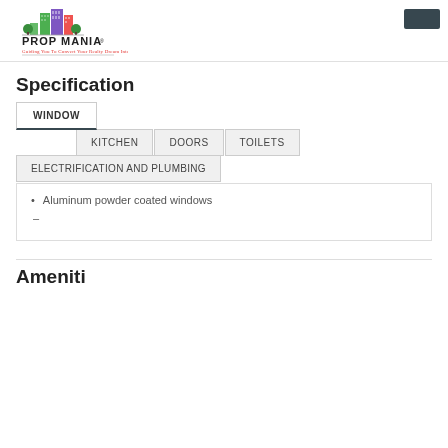[Figure (logo): Prop Mania logo with colorful city buildings illustration. Text: PROP MANIA, Guiding You To Convert Your Realty Dream Into Reality]
Specification
WINDOW
KITCHEN
DOORS
TOILETS
ELECTRIFICATION AND PLUMBING
Aluminum powder coated windows
–
Amenities